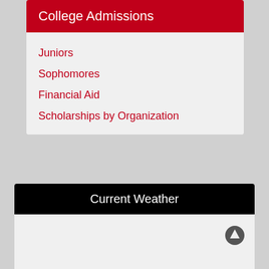College Admissions
Juniors
Sophomores
Financial Aid
Scholarships by Organization
Current Weather
Current Condition: scattered clouds